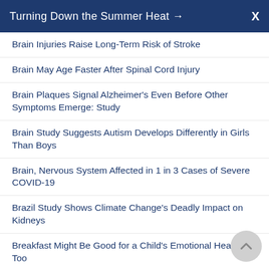Turning Down the Summer Heat →   X
Brain Injuries Raise Long-Term Risk of Stroke
Brain May Age Faster After Spinal Cord Injury
Brain Plaques Signal Alzheimer's Even Before Other Symptoms Emerge: Study
Brain Study Suggests Autism Develops Differently in Girls Than Boys
Brain, Nervous System Affected in 1 in 3 Cases of Severe COVID-19
Brazil Study Shows Climate Change's Deadly Impact on Kidneys
Breakfast Might Be Good for a Child's Emotional Health, Too
'Breakthrough' COVID Infections After Vaccination Very Rare: Study
Breast Cancer Diagnosis Linked to Higher Odds of…